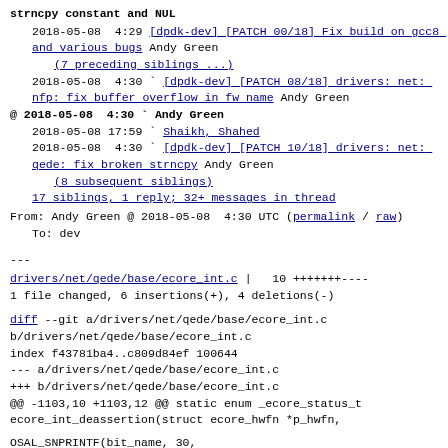strncpy constant and NUL
2018-05-08  4:29  [dpdk-dev] [PATCH 00/18] Fix build on gcc8 and various bugs  Andy Green
(7 preceding siblings ...)
2018-05-08  4:30  [dpdk-dev] [PATCH 08/18] drivers: net: nfp: fix buffer overflow in fw name  Andy Green
@ 2018-05-08  4:30  Andy Green
2018-05-08 17:59    Shaikh, Shahed
2018-05-08  4:30    [dpdk-dev] [PATCH 10/18] drivers: net: qede: fix broken strncpy  Andy Green
(8 subsequent siblings)
17 siblings, 1 reply; 32+ messages in thread
From: Andy Green @ 2018-05-08  4:30 UTC (permalink / raw)
  To: dev
---
drivers/net/qede/base/ecore_int.c |   10 +++++++----
1 file changed, 6 insertions(+), 4 deletions(-)
diff --git a/drivers/net/qede/base/ecore_int.c b/drivers/net/qede/base/ecore_int.c
index f43781ba4..c809d84ef 100644
--- a/drivers/net/qede/base/ecore_int.c
+++ b/drivers/net/qede/base/ecore_int.c
@@ -1103,10 +1103,12 @@ static enum _ecore_status_t ecore_int_deassertion(struct ecore_hwfn *p_hwfn,

OSAL_SNPRINTF(bit_name, 30,